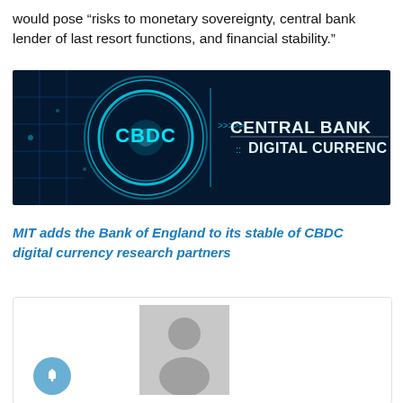would pose “risks to monetary sovereignty, central bank lender of last resort functions, and financial stability.”
[Figure (photo): Dark blue futuristic technology background with glowing blue circular rings and the text 'CBDC' on the left and 'CENTRAL BANK DIGITAL CURRENCY' on the right]
MIT adds the Bank of England to its stable of CBDC digital currency research partners
[Figure (photo): Card box with a gray avatar/profile placeholder image and a blue circular bell notification button on the lower left]